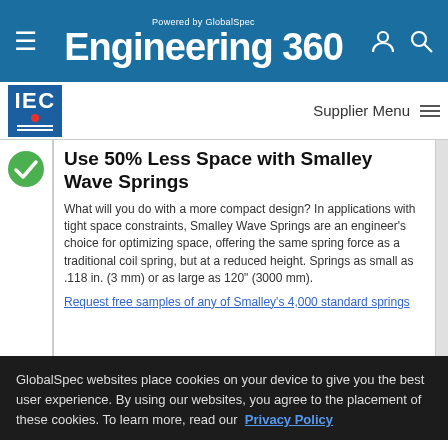Powered by GlobalSpec Engineering 360
[Figure (logo): IEC logo square with blue background, white IEC text and red dot]
Supplier Menu
Use 50% Less Space with Smalley Wave Springs
What will you do with a more compact design? In applications with tight space constraints, Smalley Wave Springs are an engineer's choice for optimizing space, offering the same spring force as a traditional coil spring, but at a reduced height. Springs as small as .118 in. (3 mm) or as large as 120" (3000 mm).
Request free samples of any of Smalley's 4,000 standard springs
GlobalSpec websites place cookies on your device to give you the best user experience. By using our websites, you agree to the placement of these cookies. To learn more, read our Privacy Policy